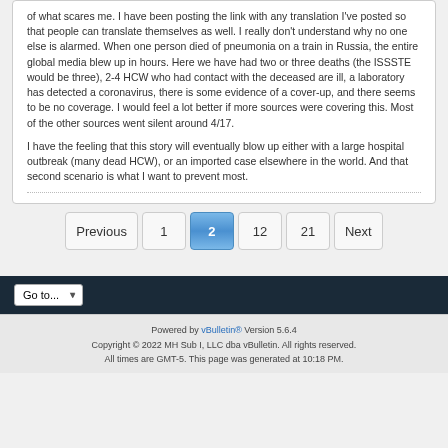of what scares me. I have been posting the link with any translation I've posted so that people can translate themselves as well. I really don't understand why no one else is alarmed. When one person died of pneumonia on a train in Russia, the entire global media blew up in hours. Here we have had two or three deaths (the ISSSTE would be three), 2-4 HCW who had contact with the deceased are ill, a laboratory has detected a coronavirus, there is some evidence of a cover-up, and there seems to be no coverage. I would feel a lot better if more sources were covering this. Most of the other sources went silent around 4/17.
I have the feeling that this story will eventually blow up either with a large hospital outbreak (many dead HCW), or an imported case elsewhere in the world. And that second scenario is what I want to prevent most.
Previous
1
2
12
21
Next
Powered by vBulletin® Version 5.6.4
Copyright © 2022 MH Sub I, LLC dba vBulletin. All rights reserved.
All times are GMT-5. This page was generated at 10:18 PM.